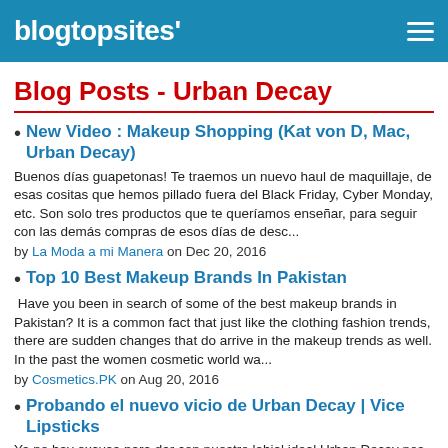blogtopsites'
Blog Posts - Urban Decay
New Video : Makeup Shopping (Kat von D, Mac, Urban Decay)
Buenos días guapetonas! Te traemos un nuevo haul de maquillaje, de esas cositas que hemos pillado fuera del Black Friday, Cyber Monday, etc. Son solo tres productos que te queríamos enseñar, para seguir con las demás compras de esos días de desc...
by La Moda a mi Manera on Dec 20, 2016
Top 10 Best Makeup Brands In Pakistan
Have you been in search of some of the best makeup brands in Pakistan? It is a common fact that just like the clothing fashion trends, there are sudden changes that do arrive in the makeup trends as well. In the past the women cosmetic world wa...
by Cosmetics.PK on Aug 20, 2016
Probando el nuevo vicio de Urban Decay | Vice Lipsticks
Ya no hay excusa para dar con nuestro labial ideal.Urban Decay nos lo ha puesto fácil con su nueva gama de labiales VICE.Compuesta nada más y nada menos que por 100 tonos en 6 acabados diferentes:· MM MEGA MATTE (mate super intenso) · C...